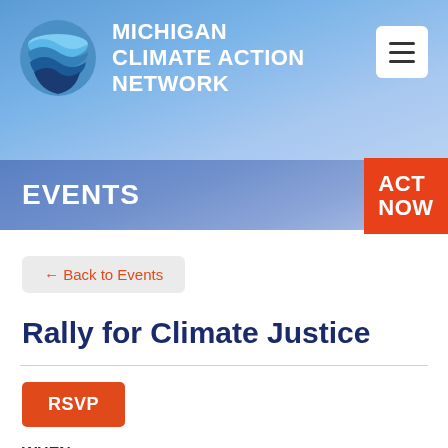[Figure (logo): Michigan Climate Action Network logo — circular globe with wave layers in teal/blue, with organization name 'Michigan Climate Action Network' in white text to the right]
EVENTS
← Back to Events
Rally for Climate Justice
RSVP
WHEN
Friday, October 06, 2017